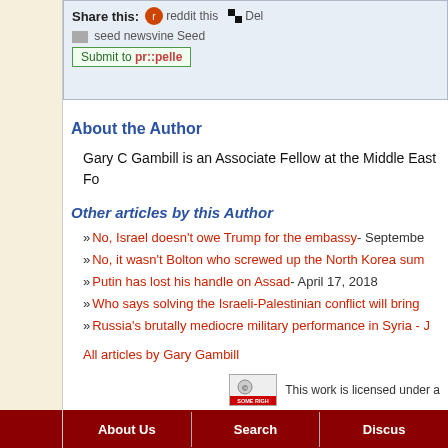[Figure (screenshot): Share this section with Reddit and Del.icio.us icons, seed newsvine link, and Submit to Propeller button. A blue 'Support OLO' tab appears on the right side.]
About the Author
Gary C Gambill is an Associate Fellow at the Middle East Fo
Other articles by this Author
No, Israel doesn't owe Trump for the embassy - Septembe
No, it wasn't Bolton who screwed up the North Korea sum
Putin has lost his handle on Assad - April 17, 2018
Who says solving the Israeli-Palestinian conflict will bring
Russia's brutally mediocre military performance in Syria - J
All articles by Gary Gambill
[Figure (logo): Creative Commons license badge with 'SOME RIGHTS RESERVED' text]
This work is licensed under a
About Us   Search   Discus